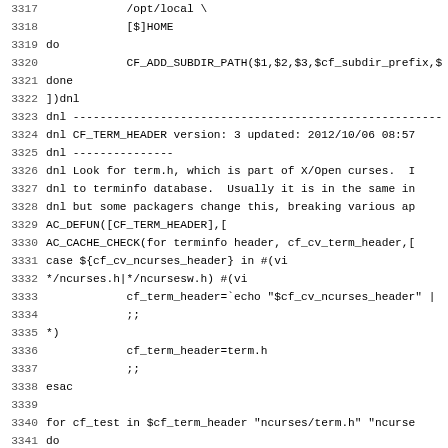Source code listing lines 3317-3348, shell/autoconf script